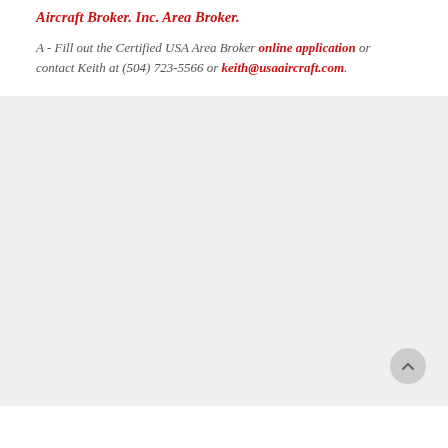Aircraft Broker. Inc. Area Broker.
A - Fill out the Certified USA Area Broker online application or contact Keith at (504) 723-5566 or keith@usaaircraft.com.